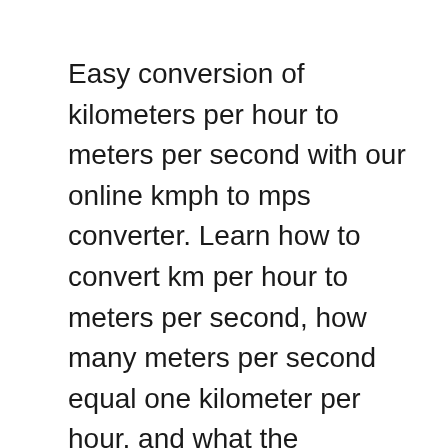Easy conversion of kilometers per hour to meters per second with our online kmph to mps converter. Learn how to convert km per hour to meters per second, how many meters per second equal one kilometer per hour, and what the difference is between these speed units. Calculation examples and reference table for common conversion values. Online calculator for conversion of miles-per-hour speed values to kilometers-per-hour speed values. Convert any Miles-per-Hour value to Kilometers-per-Hour using the conversion calculator below. Enter your value in the left-hand textfield then click CONVERT.